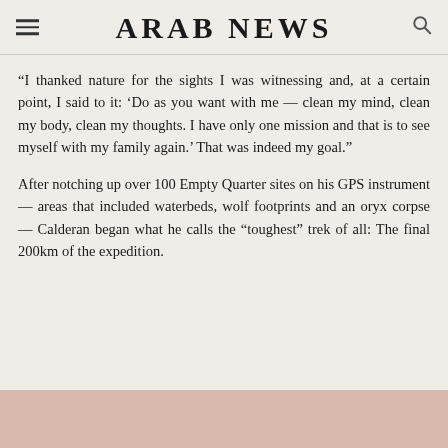ARAB NEWS
“I thanked nature for the sights I was witnessing and, at a certain point, I said to it: ‘Do as you want with me — clean my mind, clean my body, clean my thoughts. I have only one mission and that is to see myself with my family again.’ That was indeed my goal.”
After notching up over 100 Empty Quarter sites on his GPS instrument — areas that included waterbeds, wolf footprints and an oryx corpse — Calderan began what he calls the “toughest” trek of all: The final 200km of the expedition.
[Figure (photo): Bottom portion of a photo showing a warm pinkish-beige background, partially visible at the bottom of the page.]